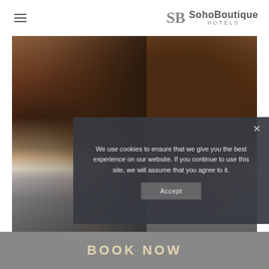SohoBoutique HOTELS
[Figure (photo): Hotel receptionist in black blazer and white shirt standing at front desk with wooden background]
We use cookies to ensure that we give you the best experience on our website. If you continue to use this site, we will assume that you agree to it.
Accept
BOOK NOW